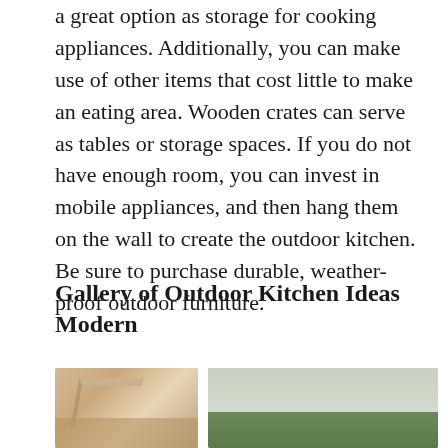a great option as storage for cooking appliances. Additionally, you can make use of other items that cost little to make an eating area. Wooden crates can serve as tables or storage spaces. If you do not have enough room, you can invest in mobile appliances, and then hang them on the wall to create the outdoor kitchen. Be sure to purchase durable, weather-proof outdoor furniture.
Gallery of Outdoor Kitchen Ideas Modern
[Figure (photo): Two photos side by side: left shows a pergola structure with decorative woodwork against a sky background; right shows a garden area with a wooden fence and green plants/shrubs.]